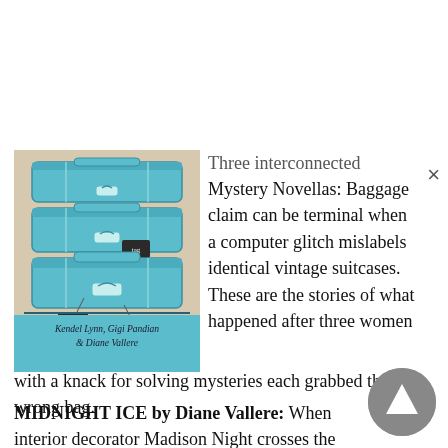[Figure (illustration): Book cover showing stacked teal/turquoise vintage suitcases on a light background, with luggage tags. Authors listed: Kendel Lynn, Gigi Pandian & Diane Vallere]
Three interconnected Mystery Novellas: Baggage claim can be terminal when a computer glitch mislabels identical vintage suitcases. These are the stories of what happened after three women with a knack for solving mysteries each grabbed the wrong bag.
MIDNIGHT ICE by Diane Vallere: When interior decorator Madison Night crosses the country to distance herself from a recent breakup, she learns